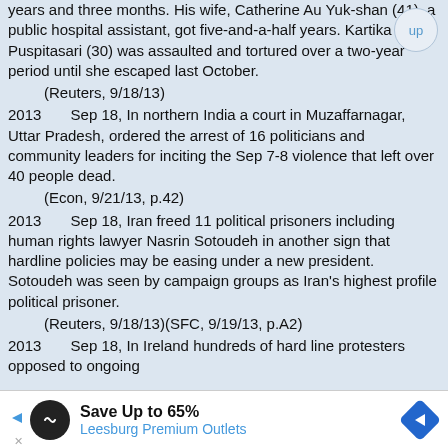years and three months. His wife, Catherine Au Yuk-shan (41), a public hospital assistant, got five-and-a-half years. Kartika Puspitasari (30) was assaulted and tortured over a two-year period until she escaped last October.
(Reuters, 9/18/13)
2013    Sep 18, In northern India a court in Muzaffarnagar, Uttar Pradesh, ordered the arrest of 16 politicians and community leaders for inciting the Sep 7-8 violence that left over 40 people dead.
(Econ, 9/21/13, p.42)
2013    Sep 18, Iran freed 11 political prisoners including human rights lawyer Nasrin Sotoudeh in another sign that hardline policies may be easing under a new president. Sotoudeh was seen by campaign groups as Iran's highest profile political prisoner.
(Reuters, 9/18/13)(SFC, 9/19/13, p.A2)
2013    Sep 18, In Ireland hundreds of hard line protesters opposed to ongoing
[Figure (other): Advertisement banner for Leesburg Premium Outlets: Save Up to 65%]